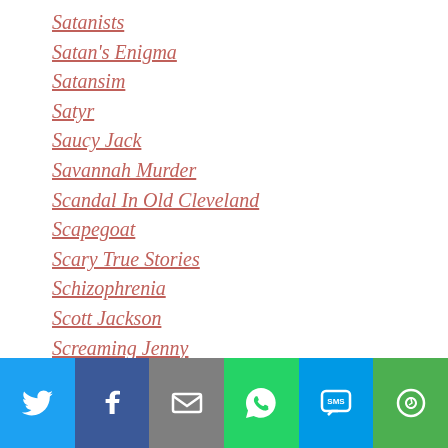Satanists
Satan's Enigma
Satansim
Satyr
Saucy Jack
Savannah Murder
Scandal In Old Cleveland
Scapegoat
Scary True Stories
Schizophrenia
Scott Jackson
Screaming Jenny
Screaming Tunnel
Sea Cryptid
Sea Monster
Searchlight Pet Cemetery
Sea Serpent